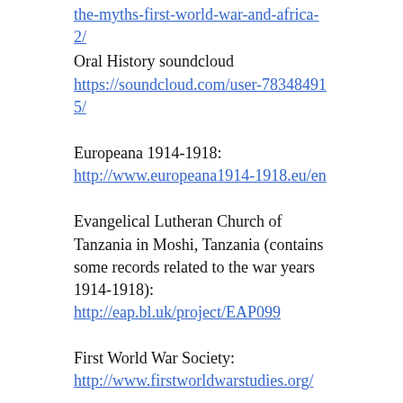the-myths-first-world-war-and-africa-2/
Oral History soundcloud
https://soundcloud.com/user-783484915/
Europeana 1914-1918:
http://www.europeana1914-1918.eu/en
Evangelical Lutheran Church of Tanzania in Moshi, Tanzania (contains some records related to the war years 1914-1918):
http://eap.bl.uk/project/EAP099
First World War Society:
http://www.firstworldwarstudies.org/
Force Publique: